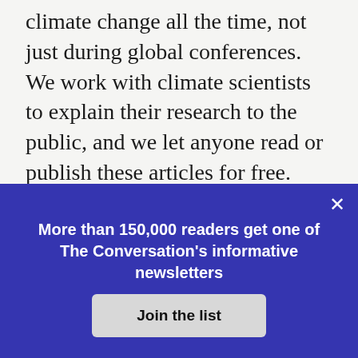The Conversation covers the facts about climate change all the time, not just during global conferences. We work with climate scientists to explain their research to the public, and we let anyone read or publish these articles for free. Readers like you enable us to do this important work. Thank you for your support.
Donate today
More than 150,000 readers get one of The Conversation's informative newsletters
Join the list